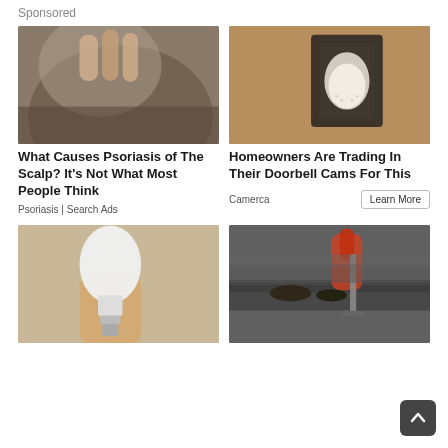Sponsored
[Figure (photo): Close-up of back of a person's head showing scalp and gray hair]
What Causes Psoriasis of The Scalp? It's Not What Most People Think
Psoriasis | Search Ads
[Figure (photo): Outdoor wall lamp with a security camera bulb installed, mounted on textured wall]
Homeowners Are Trading In Their Doorbell Cams For This
Camerca
[Figure (photo): Hand holding a white smart light bulb with camera]
[Figure (photo): Person cleaning gutter with tools, debris visible]